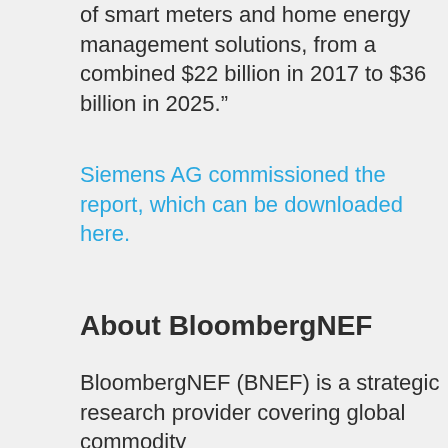of smart meters and home energy management solutions, from a combined $22 billion in 2017 to $36 billion in 2025.”
Siemens AG commissioned the report, which can be downloaded here.
About BloombergNEF
BloombergNEF (BNEF) is a strategic research provider covering global commodity